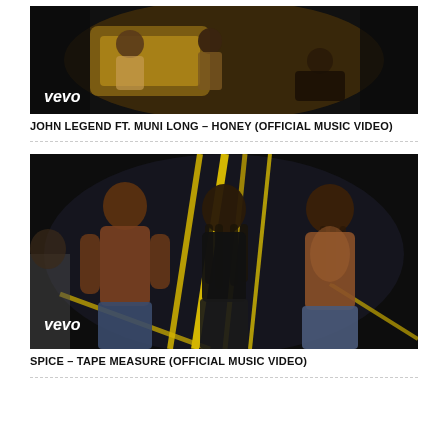[Figure (photo): Vevo music video thumbnail for John Legend ft. Muni Long - Honey. Shows several people in an ornate room setting with warm golden tones. Vevo logo in bottom left.]
JOHN LEGEND FT. MUNI LONG – HONEY (OFFICIAL MUSIC VIDEO)
[Figure (photo): Vevo music video thumbnail for Spice - Tape Measure. Shows a woman in a black corset with two shirtless muscular men, yellow ribbon streamers on a dark stage. Vevo logo in bottom left.]
SPICE – TAPE MEASURE (OFFICIAL MUSIC VIDEO)